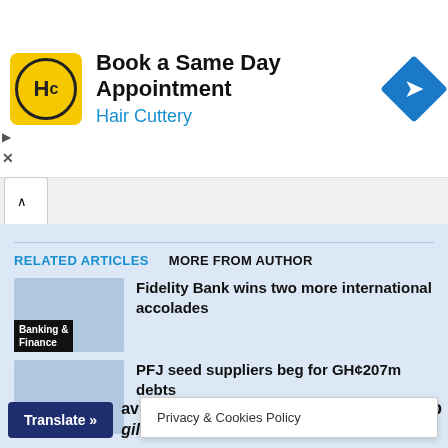[Figure (screenshot): Advertisement banner for Hair Cuttery: Book a Same Day Appointment]
Book a Same Day Appointment
Hair Cuttery
RELATED ARTICLES    MORE FROM AUTHOR
Fidelity Bank wins two more international accolades
Banking & Finance
PFJ seed suppliers beg for GH¢207m debts
Agribusiness
Privacy & Cookies Policy